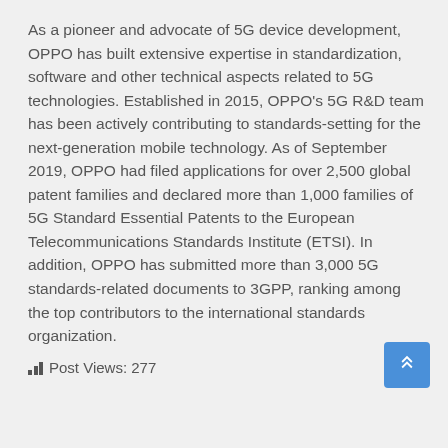As a pioneer and advocate of 5G device development, OPPO has built extensive expertise in standardization, software and other technical aspects related to 5G technologies. Established in 2015, OPPO's 5G R&D team has been actively contributing to standards-setting for the next-generation mobile technology. As of September 2019, OPPO had filed applications for over 2,500 global patent families and declared more than 1,000 families of 5G Standard Essential Patents to the European Telecommunications Standards Institute (ETSI). In addition, OPPO has submitted more than 3,000 5G standards-related documents to 3GPP, ranking among the top contributors to the international standards organization.
Post Views: 277